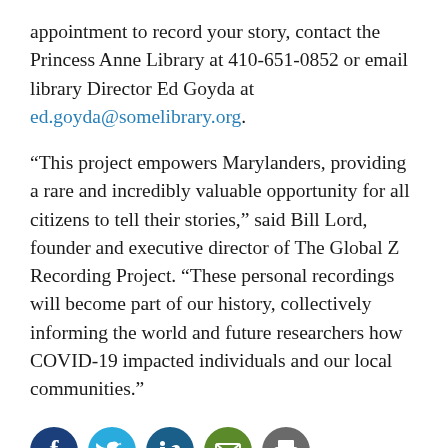appointment to record your story, contact the Princess Anne Library at 410-651-0852 or email library Director Ed Goyda at ed.goyda@somelibrary.org.
“This project empowers Marylanders, providing a rare and incredibly valuable opportunity for all citizens to tell their stories,” said Bill Lord, founder and executive director of The Global Z Recording Project. “These personal recordings will become part of our history, collectively informing the world and future researchers how COVID-19 impacted individuals and our local communities.”
[Figure (infographic): Row of five social media sharing icons: Facebook (dark blue circle), Twitter (light blue circle), LinkedIn (dark blue circle), Email (green circle), Print (gray circle)]
Comments